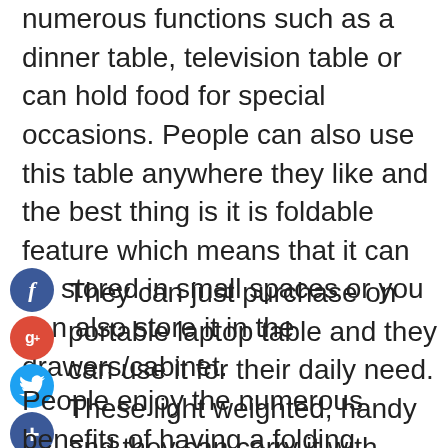numerous functions such as a dinner table, television table or can hold food for special occasions. People can also use this table anywhere they like and the best thing is it is foldable feature which means that it can be stored in small spaces or you can also store it in the drawers/cabinet.
[Figure (other): Social media share icons: Facebook (blue circle with f), Google+ (red circle with g+), Twitter (light blue circle with bird), and a dark blue circle with plus sign]
They can just purchase on portable laptop table and they can use it for their daily need. These light weighted, handy and they can carry it with them wherever they go.
People enjoy the numerous benefits of having a folding laptop desk. They are satisfied with its